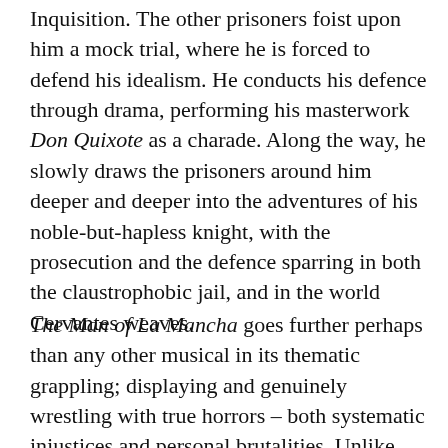Inquisition. The other prisoners foist upon him a mock trial, where he is forced to defend his idealism. He conducts his defence through drama, performing his masterwork Don Quixote as a charade. Along the way, he slowly draws the prisoners around him deeper and deeper into the adventures of his noble-but-hapless knight, with the prosecution and the defence sparring in both the claustrophobic jail, and in the world Cervantes weaves.
The Man of La Mancha goes further perhaps than any other musical in its thematic grappling; displaying and genuinely wrestling with true horrors – both systematic injustices and personal brutalities. Unlike Don Quixote himself, this play does not tilt at spectres.